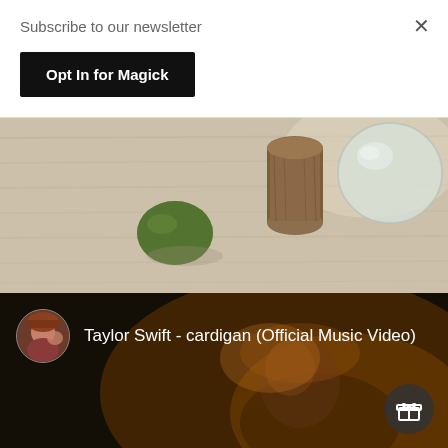Subscribe to our newsletter
×
Opt In for Magick
[Figure (photo): Photo of crystals and natural objects on a light wood surface: a cylindrical piece of wood/cork, a transparent glass sphere, and a green tumbled stone, with soft shadows.]
[Figure (screenshot): YouTube video embed showing Taylor Swift - cardigan (Official Music Video), with a circular avatar thumbnail of Taylor Swift on the left and the video title in white text. A gift icon button appears in the bottom right. The video background shows a dimly lit warm-toned scene.]